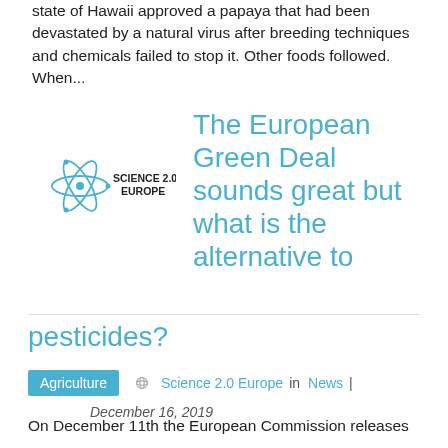state of Hawaii approved a papaya that had been devastated by a natural virus after breeding techniques and chemicals failed to stop it. Other foods followed. When...
[Figure (logo): Science 2.0 Europe logo — atom icon with orbiting electrons and text SCIENCE 2.0 EUROPE]
The European Green Deal sounds great but what is the alternative to pesticides?
Agriculture  Science 2.0 Europe in News | December 16, 2019
On December 11th the European Commission releases its European Green Deal document. It is now accepted...